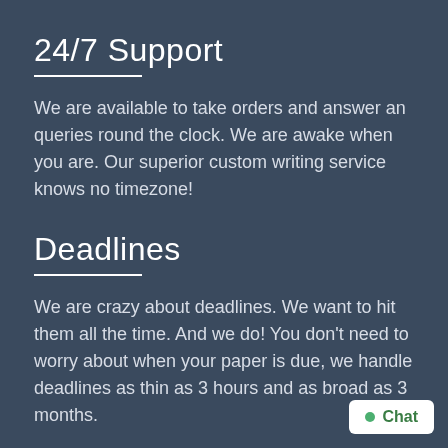24/7 Support
We are available to take orders and answer an queries round the clock. We are awake when you are. Our superior custom writing service knows no timezone!
Deadlines
We are crazy about deadlines. We want to hit them all the time. And we do! You don't need to worry about when your paper is due, we handle deadlines as thin as 3 hours and as broad as 3 months.